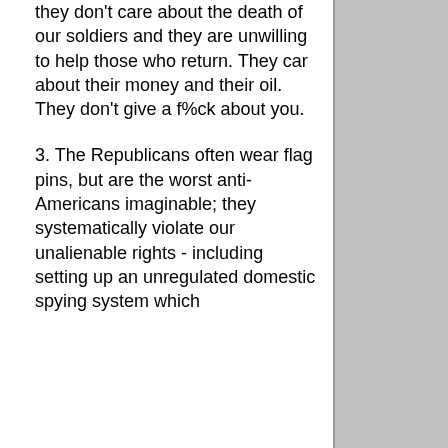they don't care about the death of our soldiers and they are unwilling to help those who return. They car about their money and their oil. They don't give a f%ck about you.
3. The Republicans often wear flag pins, but are the worst anti-Americans imaginable; they systematically violate our unalienable rights - including setting up an unregulated domestic spying system which